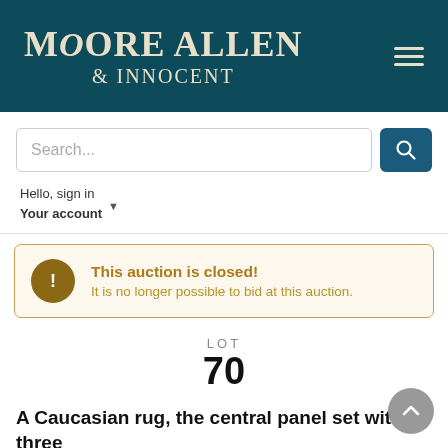Moore Allen & Innocent
Search...
Hello, sign in
Your account
This auction is closed! It is no longer possible to bid at this auction.
LOT
70
A Caucasian rug, the central panel set with three repeating medallions on a brown ground, within a